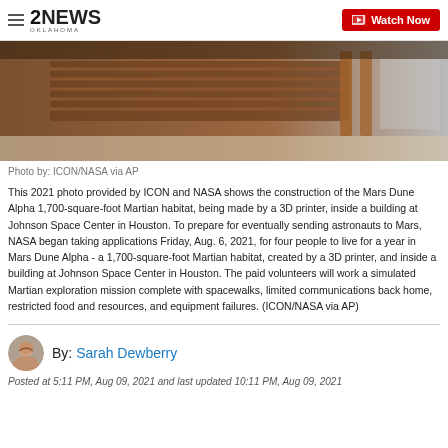2NEWS Oklahoma | Watch Now
[Figure (photo): Construction of Mars Dune Alpha 1,700-square-foot Martian habitat being made by a 3D printer inside a building at Johnson Space Center in Houston]
Photo by: ICON/NASA via AP
This 2021 photo provided by ICON and NASA shows the construction of the Mars Dune Alpha 1,700-square-foot Martian habitat, being made by a 3D printer, inside a building at Johnson Space Center in Houston. To prepare for eventually sending astronauts to Mars, NASA began taking applications Friday, Aug. 6, 2021, for four people to live for a year in Mars Dune Alpha - a 1,700-square-foot Martian habitat, created by a 3D printer, and inside a building at Johnson Space Center in Houston. The paid volunteers will work a simulated Martian exploration mission complete with spacewalks, limited communications back home, restricted food and resources, and equipment failures. (ICON/NASA via AP)
By: Sarah Dewberry
Posted at 5:11 PM, Aug 09, 2021 and last updated 10:11 PM, Aug 09, 2021